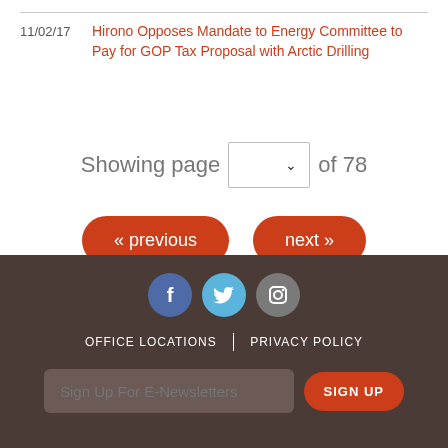11/02/17  Hirono Opposes Mandate to Energy Committee to Pay for GOP Tax Proposal with Arctic Drilling
Showing page [dropdown] of 78
« previous
next »
OFFICE LOCATIONS | PRIVACY POLICY | Sign Up For E-Newsletters | SIGN UP